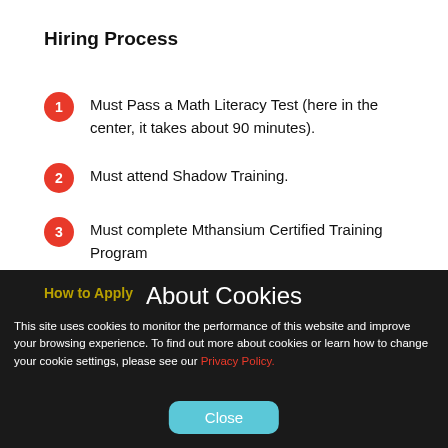Hiring Process
Must Pass a Math Literacy Test (here in the center, it takes about 90 minutes).
Must attend Shadow Training.
Must complete Mthansium Certified Training Program
How to Apply
About Cookies
This site uses cookies to monitor the performance of this website and improve your browsing experience. To find out more about cookies or learn how to change your cookie settings, please see our Privacy Policy.
ALERT